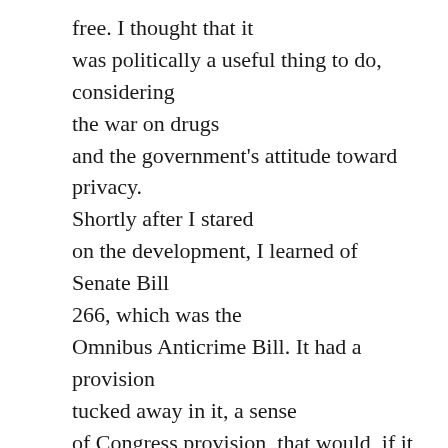free. I thought that it was politically a useful thing to do, considering the war on drugs and the government's attitude toward privacy. Shortly after I stared on the development, I learned of Senate Bill 266, which was the Omnibus Anticrime Bill. It had a provision tucked away in it, a sense of Congress provision, that would, if it had become real hard law, have required manufacturers of secure communications gear, and presumably cryptographic software, to put back doors in their products to allow the government to obtain the